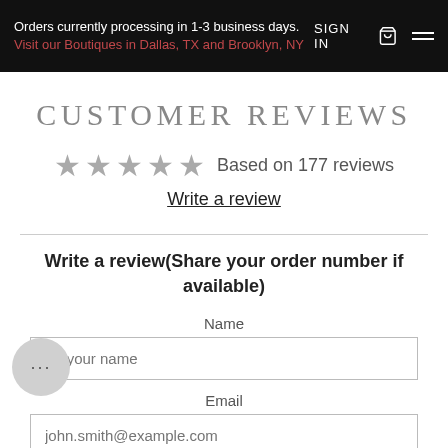Orders currently processing in 1-3 business days. Visit our Boutiques in Dallas, TX and Brooklyn, NY | SIGN IN
CUSTOMER REVIEWS
Based on 177 reviews
Write a review
Write a review(Share your order number if available)
Name
ter your name
Email
john.smith@example.com